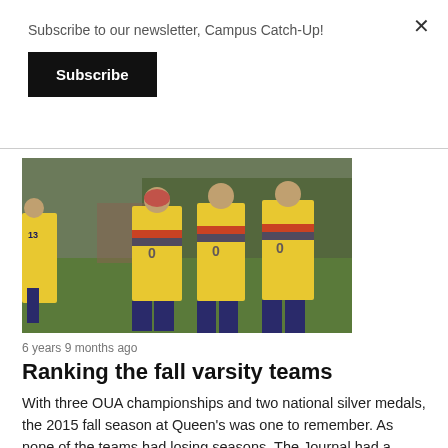Subscribe to our newsletter, Campus Catch-Up!
Subscribe
[Figure (photo): Rugby players in yellow jerseys with navy shorts walking on a grass field during a match]
6 years 9 months ago
Ranking the fall varsity teams
With three OUA championships and two national silver medals, the 2015 fall season at Queen's was one to remember. As none of the teams had losing seasons, The Journal had a tough time...